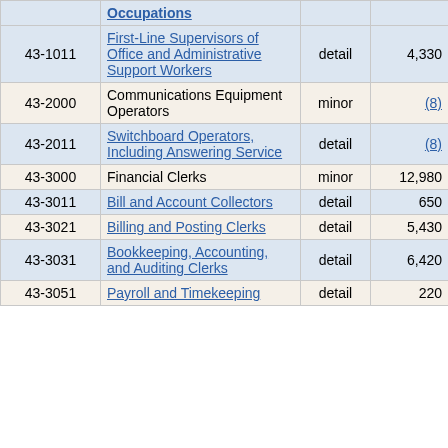| SOC Code | Occupations | Level | Employment | Percent |
| --- | --- | --- | --- | --- |
| 43-1011 | First-Line Supervisors of Office and Administrative Support Workers | detail | 4,330 | 6.6% |
| 43-2000 | Communications Equipment Operators | minor | (8) | (8) |
| 43-2011 | Switchboard Operators, Including Answering Service | detail | (8) | (8) |
| 43-3000 | Financial Clerks | minor | 12,980 | 5.1% |
| 43-3011 | Bill and Account Collectors | detail | 650 | 18.7% |
| 43-3021 | Billing and Posting Clerks | detail | 5,430 | 8.3% |
| 43-3031 | Bookkeeping, Accounting, and Auditing Clerks | detail | 6,420 | 6.7% |
| 43-3051 | Payroll and Timekeeping | detail | 220 | 23.7% |